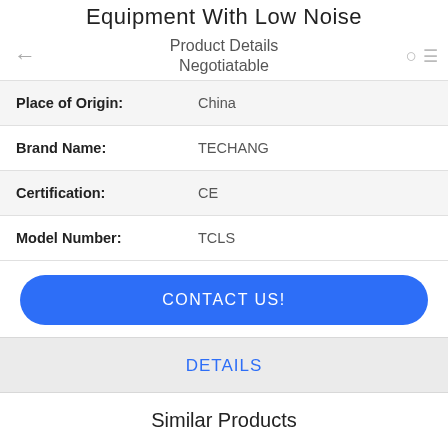Equipment With Low Noise
Product Details
Negotiatable
| Place of Origin: | China |
| Brand Name: | TECHANG |
| Certification: | CE |
| Model Number: | TCLS |
CONTACT US!
DETAILS
Similar Products